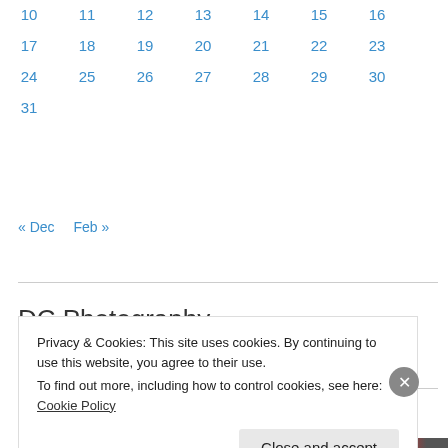| 10 | 11 | 12 | 13 | 14 | 15 | 16 |
| 17 | 18 | 19 | 20 | 21 | 22 | 23 |
| 24 | 25 | 26 | 27 | 28 | 29 | 30 |
| 31 |  |  |  |  |  |  |
« Dec   Feb »
DC Photography
Privacy & Cookies: This site uses cookies. By continuing to use this website, you agree to their use.
To find out more, including how to control cookies, see here: Cookie Policy
Close and accept